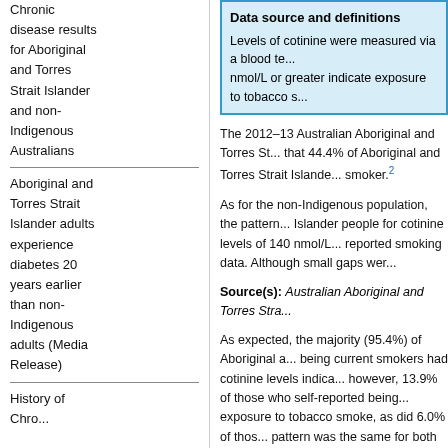Chronic disease results for Aboriginal and Torres Strait Islander and non-Indigenous Australians
Aboriginal and Torres Strait Islander adults experience diabetes 20 years earlier than non-Indigenous adults (Media Release)
History of Chro...
Data source and definitions
Levels of cotinine were measured via a blood te... nmol/L or greater indicate exposure to tobacco s...
The 2012–13 Australian Aboriginal and Torres St... that 44.4% of Aboriginal and Torres Strait Islande... smoker.2
As for the non-Indigenous population, the pattern... Islander people for cotinine levels of 140 nmol/L... reported smoking data. Although small gaps wer...
Source(s): Australian Aboriginal and Torres Stra...
As expected, the majority (95.4%) of Aboriginal a... being current smokers had cotinine levels indica... however, 13.9% of those who self-reported being... exposure to tobacco smoke, as did 6.0% of thos... pattern was the same for both men and women...